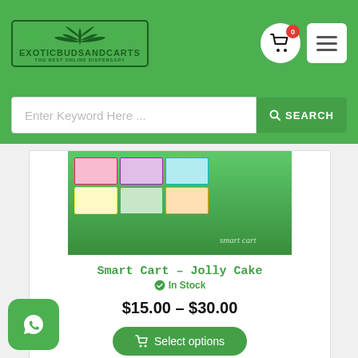[Figure (logo): ExoticBudsAndCarts logo with cannabis leaves and text 'YOU BEST ONLINE DISPENSARY']
[Figure (screenshot): Search bar with placeholder 'Enter Keyword Here ...' and green SEARCH button]
[Figure (photo): Photo of Smart Cart Jolly Cake product boxes on green background]
Smart Cart – Jolly Cake
In Stock
$15.00 – $30.00
Select options
[Figure (logo): WhatsApp icon button]